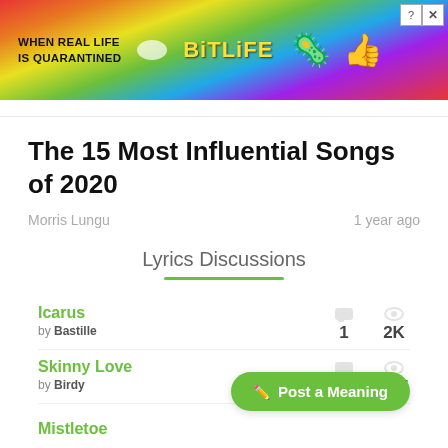[Figure (screenshot): BitLife advertisement banner with rainbow gradient background. Text reads 'WHEN REAL LIFE IS QUARANTINED' and 'BitLife' in yellow, with emoji icons and close button.]
The 15 Most Influential Songs of 2020
Morris Lungu — 1 year ago
Lyrics Discussions
Icarus by Bastille — 1 comment, 2K views
Skinny Love by Birdy — 1 comment, 977 views
Mistletoe (partial)